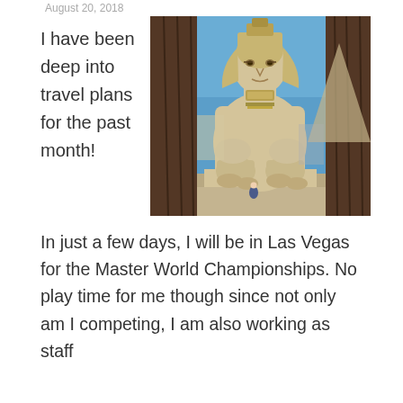August 20, 2018
I have been deep into travel plans for the past month!
[Figure (photo): Large Egyptian sphinx statue at Luxor Hotel Las Vegas, flanked by two palm trees, blue sky background, small figurine at the base]
In just a few days, I will be in Las Vegas for the Master World Championships. No play time for me though since not only am I competing, I am also working as staff